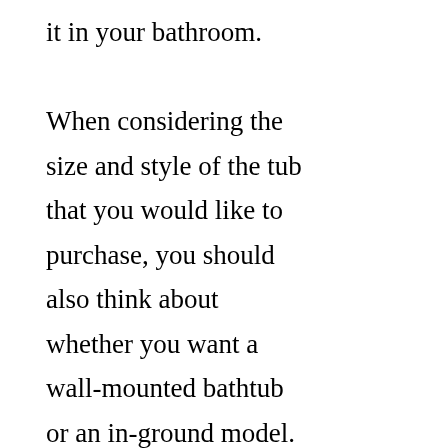it in your bathroom.

When considering the size and style of the tub that you would like to purchase, you should also think about whether you want a wall-mounted bathtub or an in-ground model. Wall-mounted baths are typically easier to clean, but they do require more space. On the other hand, an in-ground bathtub will provide you with more flexibility, as it can be moved anywhere in your bathroom. Maximizing the comfort and convenience of your bathroom is